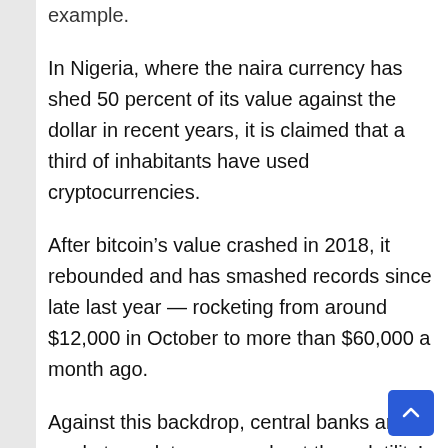In Nigeria, where the naira currency has shed 50 percent of its value against the dollar in recent years, it is claimed that a third of inhabitants have used cryptocurrencies.
After bitcoin’s value crashed in 2018, it rebounded and has smashed records since late last year — rocketing from around $12,000 in October to more than $60,000 a month ago.
Against this backdrop, central banks and market regulators warn about the volatility’s impact — especially on small investors who risk suffering big losses.
But it is clear that some individuals and